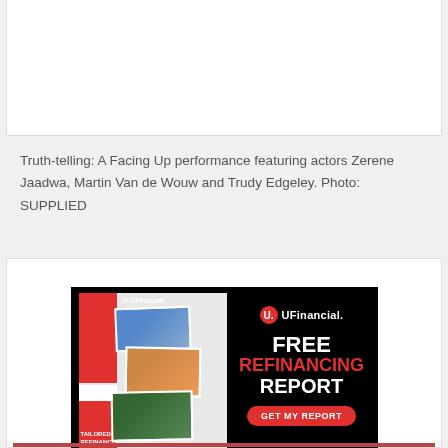[Figure (photo): White panel at top, partially visible image area above the caption]
Truth-telling: A Facing Up performance featuring actors Zerene Jaadwa, Martin Van de Wouw and Trudy Edgeley. Photo: SUPPLIED
[Figure (infographic): UFinancial advertisement on black background. Left side shows a booklet with photos and text 'TAILORED REFINANCING OPTIONS'. Right side shows UFinancial logo and text 'FREE REFINANCING REPORT' with a red 'GET MY REPORT' button.]